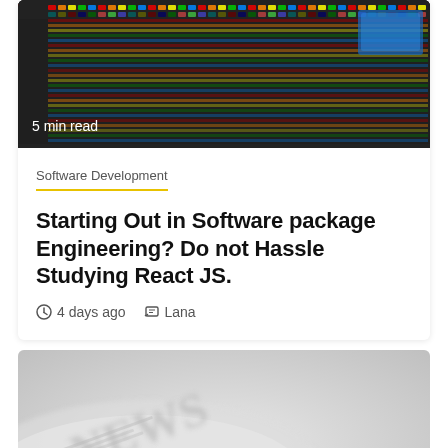[Figure (photo): Photo of a colorful mixing board or LED panel, with a '5 min read' label in the lower-left corner]
5 min read
Software Development
Starting Out in Software package Engineering? Do not Hassle Studying React JS.
4 days ago   Lana
[Figure (photo): Close-up photo of rolled newspapers with 'NEWS' text visible, slightly blurred]